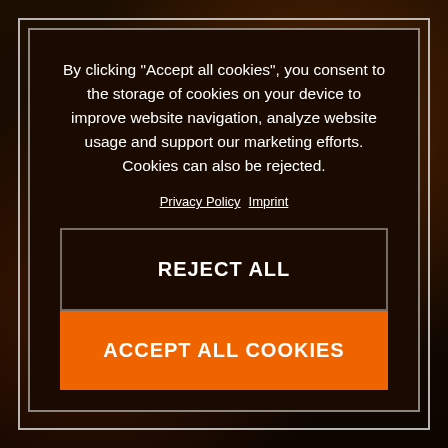[Figure (screenshot): Dark background showing a KTM 390 Adventure motorcycle website with orange accents, partially obscured by a cookie consent modal overlay.]
By clicking “Accept all cookies”, you consent to the storage of cookies on your device to improve website navigation, analyze website usage and support our marketing efforts. Cookies can also be rejected.
Privacy Policy  Imprint
REJECT ALL
ACCEPT ALL COOKIES